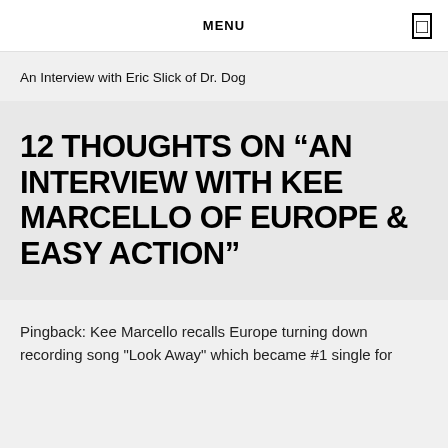MENU
An Interview with Eric Slick of Dr. Dog
12 THOUGHTS ON “AN INTERVIEW WITH KEE MARCELLO OF EUROPE & EASY ACTION”
Pingback: Kee Marcello recalls Europe turning down recording song "Look Away" which became #1 single for